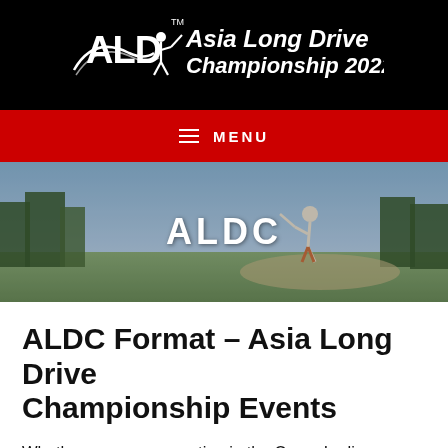[Figure (logo): Asia Long Drive Championship 2022 logo with golfer silhouette icon on black background]
MENU
[Figure (photo): Hero banner showing a golfer mid-swing outdoors with trees and sky in background, overlaid with large white text ALDC]
ALDC Format - Asia Long Drive Championship Events
Whether you are competing in the Open, Ladies, Senior or Junior divisions, there are three stages that include Local, Regional, and Championship qualifying events. Each are discussed in more